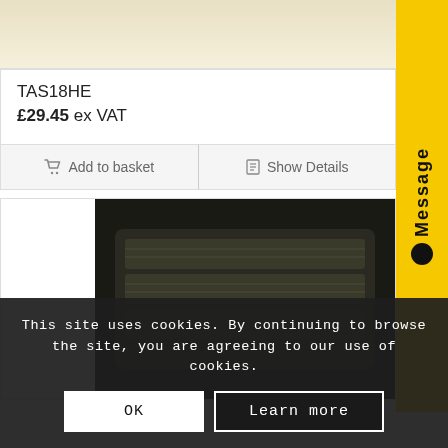[Figure (screenshot): Product image top area with cream/beige gradient background]
TAS18HE
£29.45 ex VAT
Add to basket
Show Details
[Figure (photo): Dark-colored product hardware component photograph]
[Figure (screenshot): Yellow Message tab on right side with chat icon]
This site uses cookies. By continuing to browse the site, you are agreeing to our use of cookies.
OK
Learn more